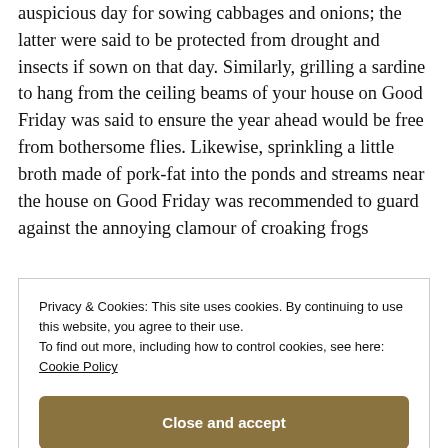auspicious day for sowing cabbages and onions; the latter were said to be protected from drought and insects if sown on that day. Similarly, grilling a sardine to hang from the ceiling beams of your house on Good Friday was said to ensure the year ahead would be free from bothersome flies. Likewise, sprinkling a little broth made of pork-fat into the ponds and streams near the house on Good Friday was recommended to guard against the annoying clamour of croaking frogs
Privacy & Cookies: This site uses cookies. By continuing to use this website, you agree to their use. To find out more, including how to control cookies, see here: Cookie Policy
Close and accept
and other rodents.